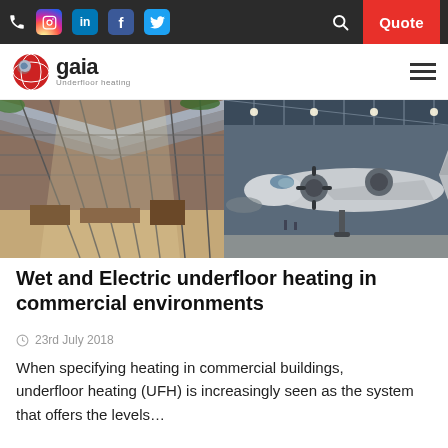Gaia Underfloor Heating website header with phone, social icons (Instagram, LinkedIn, Facebook, Twitter), search, and Quote button
[Figure (logo): Gaia Underfloor Heating logo with globe icon]
[Figure (photo): Two side-by-side photos: left shows a large commercial interior with glass skylight ceiling and retail/gallery space; right shows a vintage propeller aircraft in a hangar with steel roof structure]
Wet and Electric underfloor heating in commercial environments
23rd July 2018
When specifying heating in commercial buildings, underfloor heating (UFH) is increasingly seen as the system that offers the levels…